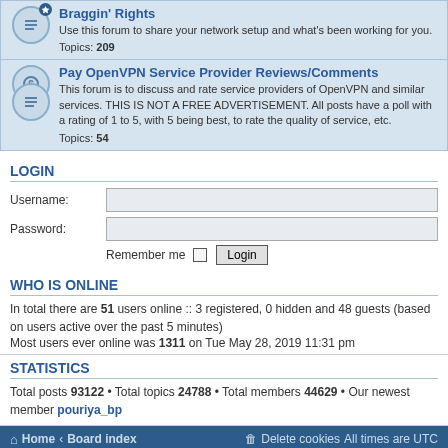Braggin' Rights
Use this forum to share your network setup and what's been working for you.
Topics: 209
Pay OpenVPN Service Provider Reviews/Comments
This forum is to discuss and rate service providers of OpenVPN and similar services. THIS IS NOT A FREE ADVERTISEMENT. All posts have a poll with a rating of 1 to 5, with 5 being best, to rate the quality of service, etc.
Topics: 54
LOGIN
Username:
Password:
Remember me  Login
WHO IS ONLINE
In total there are 51 users online :: 3 registered, 0 hidden and 48 guests (based on users active over the past 5 minutes)
Most users ever online was 1311 on Tue May 28, 2019 11:31 pm
STATISTICS
Total posts 93122 • Total topics 24788 • Total members 44629 • Our newest member pouriya_bp
Home · Board index   Delete cookies  All times are UTC
Powered by phpBB® Forum Software © phpBB Limited